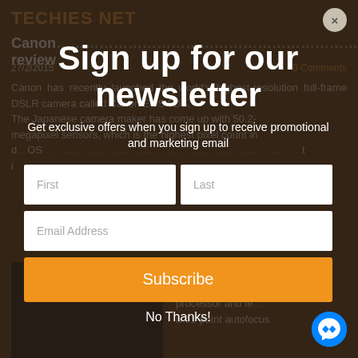TECHIES NET
Canon … Review
27/2/2015
0 Comments
Canon has recently launched the world's highest-resolution full-frame DSLR camera called Canon EOS 5DS. The Japanese camera maker has come up with 50.2-megapixel sensors, which is the highest pixel count in d… OS… t i…
[Figure (screenshot): Newsletter signup modal overlay on top of a tech blog article page. The modal has a dark semi-transparent background, with white bold text 'Sign up for our newsletter', subtitle text, First/Last name fields, Email Address field, orange Subscribe button, and No Thanks link. Behind it is a Techies Net article about Canon EOS 5DS.]
Sign up for our newsletter
Get exclusive offers when you sign up to receive promotional and marketing email
Subscribe
No Thanks!
processor and fe… a 61-point autofocus